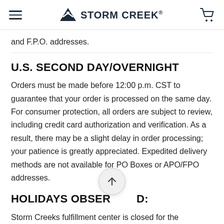STORM CREEK
and F.P.O. addresses.
U.S. SECOND DAY/OVERNIGHT
Orders must be made before 12:00 p.m. CST to guarantee that your order is processed on the same day. For consumer protection, all orders are subject to review, including credit card authorization and verification. As a result, there may be a slight delay in order processing; your patience is greatly appreciated. Expedited delivery methods are not available for PO Boxes or APO/FPO addresses.
HOLIDAYS OBSERVED:
Storm Creeks fulfillment center is closed for the observance of